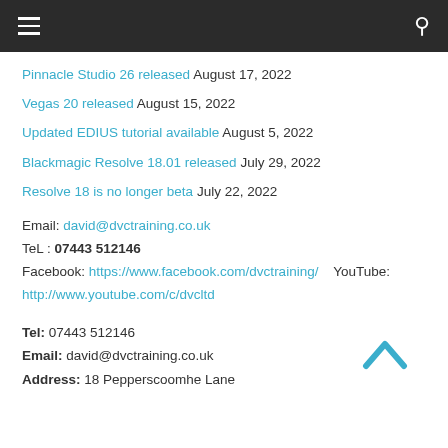Navigation bar with hamburger menu and search icon
Pinnacle Studio 26 released August 17, 2022
Vegas 20 released August 15, 2022
Updated EDIUS tutorial available August 5, 2022
Blackmagic Resolve 18.01 released July 29, 2022
Resolve 18 is no longer beta July 22, 2022
Email: david@dvctraining.co.uk
TeL : 07443 512146
Facebook: https://www.facebook.com/dvctraining/    YouTube: http://www.youtube.com/c/dvcltd
Tel: 07443 512146
Email: david@dvctraining.co.uk
Address: 18 Pepperscoomhe Lane